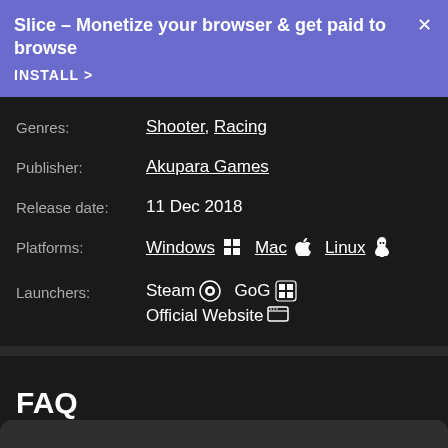Slice – Monetize your browser & get paid to browse
INSTALL >
Genres: Shooter, Racing
Publisher: Akupara Games
Release date: 11 Dec 2018
Platforms: Windows, Mac, Linux
Launchers: Steam, GoG, Official Website
FAQ